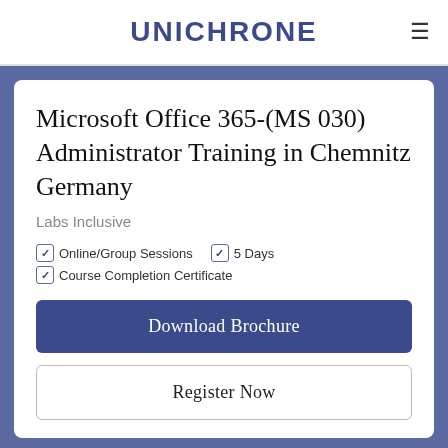UNICHRONE
Microsoft Office 365-(MS 030) Administrator Training in Chemnitz Germany
Labs Inclusive
Online/Group Sessions
5 Days
Course Completion Certificate
Download Brochure
Register Now